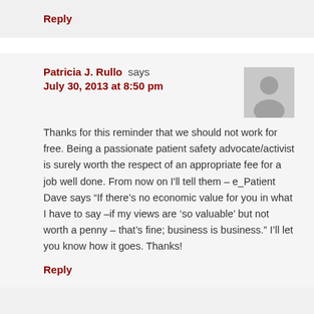Reply
Patricia J. Rullo says
July 30, 2013 at 8:50 pm
Thanks for this reminder that we should not work for free. Being a passionate patient safety advocate/activist is surely worth the respect of an appropriate fee for a job well done. From now on I'll tell them – e_Patient Dave says “If there's no economic value for you in what I have to say –if my views are 'so valuable' but not worth a penny – that's fine; business is business.” I'll let you know how it goes. Thanks!
Reply